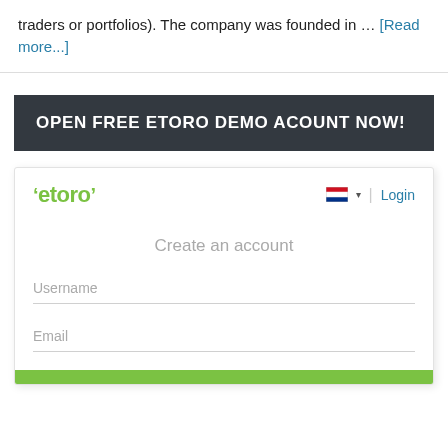traders or portfolios). The company was founded in … [Read more...]
[Figure (screenshot): eToro demo account promotional banner with dark background reading 'OPEN FREE ETORO DEMO ACOUNT NOW!' followed by a screenshot of the eToro account creation page showing logo, Login link, 'Create an account' heading, Username field, Email field, and green CTA bar at bottom.]